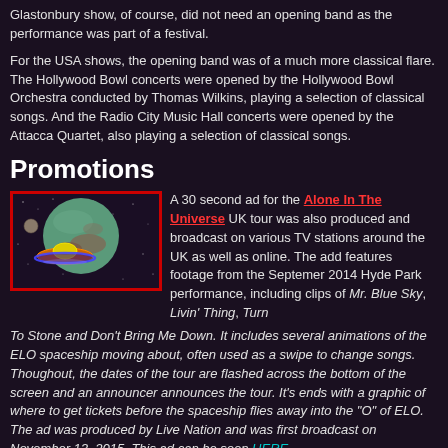Glastonbury show, of course, did not need an opening band as the performance was part of a festival.
For the USA shows, the opening band was of a much more classical flare. The Hollywood Bowl concerts were opened by the Hollywood Bowl Orchestra conducted by Thomas Wilkins, playing a selection of classical songs. And the Radio City Music Hall concerts were opened by the Attacca Quartet, also playing a selection of classical songs.
Promotions
[Figure (photo): A flying saucer / ELO spaceship in outer space with a large green planet behind it, against a dark starry background. Image has a red border.]
A 30 second ad for the Alone In The Universe UK tour was also produced and broadcast on various TV stations around the UK as well as online. The add features footage from the Septemer 2014 Hyde Park performance, including clips of Mr. Blue Sky, Livin' Thing, Turn To Stone and Don't Bring Me Down. It includes several animations of the ELO spaceship moving about, often used as a swipe to change songs. Thoughout, the dates of the tour are flashed across the bottom of the screen and an announcer announces the tour. It's ends with a graphic of where to get tickets before the spaceship flies away into the "O" of ELO. The ad was produced by Live Nation and was first broadcast on November 13, 2015. This ad can be seen HERE.
Other promotions will be detailed at a future date.
Photos
Concert    Announce